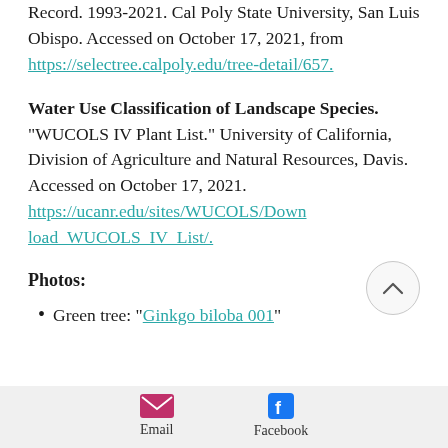Record.  1993-2021. Cal Poly State University, San Luis Obispo. Accessed on October 17, 2021, from https://selectree.calpoly.edu/tree-detail/657.
Water Use Classification of Landscape Species.  "WUCOLS IV Plant List." University of California, Division of Agriculture and Natural Resources, Davis.  Accessed on October 17, 2021. https://ucanr.edu/sites/WUCOLS/Download_WUCOLS_IV_List/.
Photos:
Green tree: "Ginkgo biloba 001"
Email  Facebook